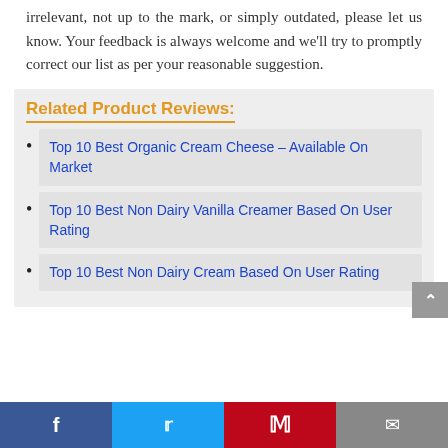irrelevant, not up to the mark, or simply outdated, please let us know. Your feedback is always welcome and we'll try to promptly correct our list as per your reasonable suggestion.
Related Product Reviews:
Top 10 Best Organic Cream Cheese – Available On Market
Top 10 Best Non Dairy Vanilla Creamer Based On User Rating
Top 10 Best Non Dairy Cream Based On User Rating